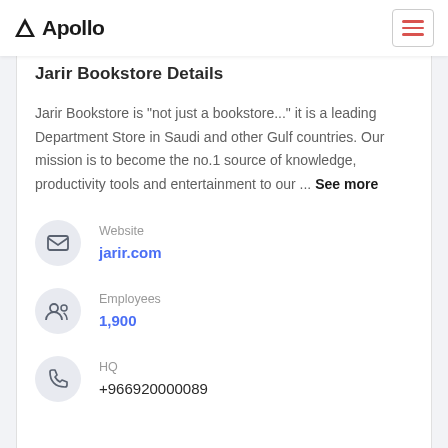Apollo
Jarir Bookstore Details
Jarir Bookstore is "not just a bookstore..." it is a leading Department Store in Saudi and other Gulf countries. Our mission is to become the no.1 source of knowledge, productivity tools and entertainment to our ... See more
Website: jarir.com
Employees: 1,900
HQ: +966920000089